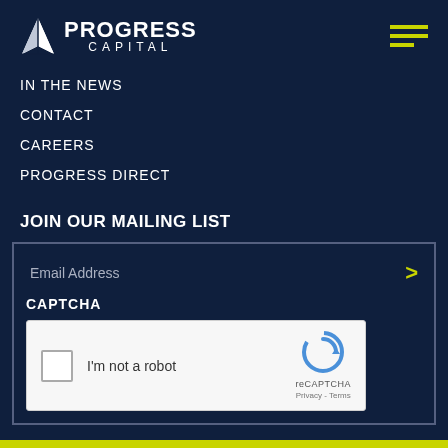[Figure (logo): Progress Capital logo with triangle icon, white text on dark navy background]
IN THE NEWS
CONTACT
CAREERS
PROGRESS DIRECT
JOIN OUR MAILING LIST
Email Address
CAPTCHA
[Figure (screenshot): reCAPTCHA widget with checkbox 'I'm not a robot']
[Figure (infographic): Social media icons: Instagram, Twitter, Facebook, LinkedIn in yellow/gold color]